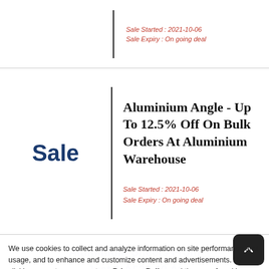Sale Started : 2021-10-06
Sale Expiry : On going deal
Sale
Aluminium Angle - Up To 12.5% Off On Bulk Orders At Aluminium Warehouse
Sale Started : 2021-10-06
Sale Expiry : On going deal
We use cookies to collect and analyze information on site performance and usage, and to enhance and customize content and advertisements. By clicking accept, you accept our Privacy Policy and the use of cookie.
Allow cookies